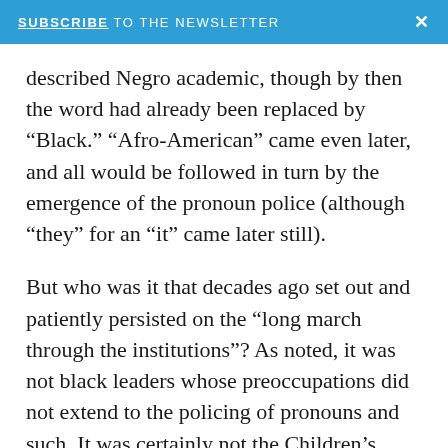SUBSCRIBE TO THE NEWSLETTER ×
described Negro academic, though by then the word had already been replaced by “Black.” “Afro-American” came even later, and all would be followed in turn by the emergence of the pronoun police (although “they” for an “it” came later still).
But who was it that decades ago set out and patiently persisted on the “long march through the institutions”? As noted, it was not black leaders whose preoccupations did not extend to the policing of pronouns and such. It was certainly not the Children’s Crusade of very passionate, slightly overweight girls and uncertain boys who now